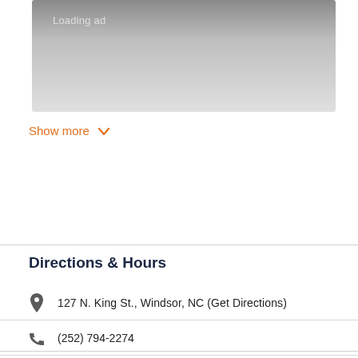[Figure (other): Advertisement banner showing 'Loading ad' text on a grey gradient background]
Show more ∨
Directions & Hours
127 N. King St., Windsor, NC (Get Directions)
(252) 794-2274
Visit Their Website
9:30am – 2pm ∨